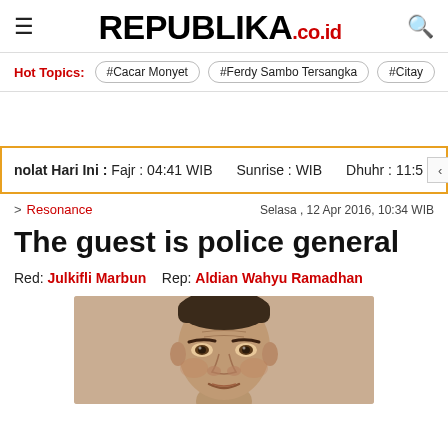REPUBLIKA.co.id
Hot Topics: #Cacar Monyet  #Ferdy Sambo Tersangka  #Citay...
nolat Hari Ini :  Fajr : 04:41 WIB   Sunrise : WIB   Dhuhr : 11:5
> Resonance   Selasa , 12 Apr 2016, 10:34 WIB
The guest is police general
Red: Julkifli Marbun   Rep: Aldian Wahyu Ramadhan
[Figure (photo): Sketch/illustration portrait of a man, head and shoulders, appearing to be a police general]